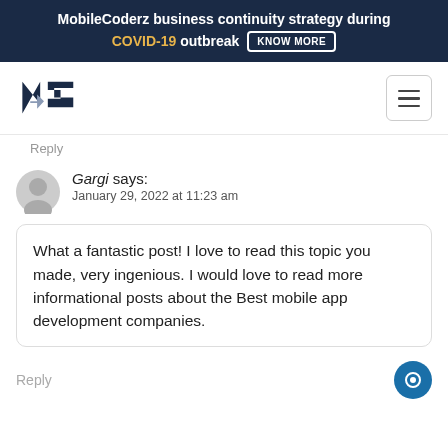MobileCoderz business continuity strategy during COVID-19 outbreak KNOW MORE
[Figure (logo): MobileCoderz logo with stylized MC letters in dark navy blue]
Reply
Gargi says: January 29, 2022 at 11:23 am
What a fantastic post! I love to read this topic you made, very ingenious. I would love to read more informational posts about the Best mobile app development companies.
Reply